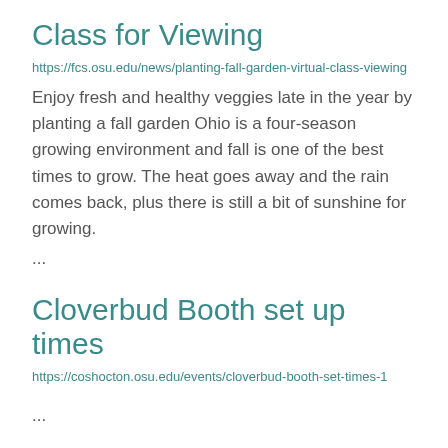Class for Viewing
https://fcs.osu.edu/news/planting-fall-garden-virtual-class-viewing
Enjoy fresh and healthy veggies late in the year by planting a fall garden Ohio is a four-season growing environment and fall is one of the best times to grow. The heat goes away and the rain comes back, plus there is still a bit of sunshine for growing.
...
Cloverbud Booth set up times
https://coshocton.osu.edu/events/cloverbud-booth-set-times-1
...